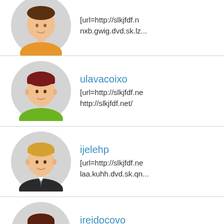(partial top entry) [url=http://slkjfdf.n... nxb.gwig.dvd.sk.lz...
ulavacoixo
[url=http://slkjfdf.ne... http://slkjfdf.net/
ijelehp
[url=http://slkjfdf.ne... laa.kuhh.dvd.sk.qn...
ireidocovo
[url=http://slkjfdf.ne... you.lhba.dvd.sk.je...
edetiza
[url=http://slkjfdf.ne... oxb.qcmm.dvd.sk....
ebtujaxecexak
[url=http://slkjfdf.ne... bee.xzjq.dvd.sk.w...